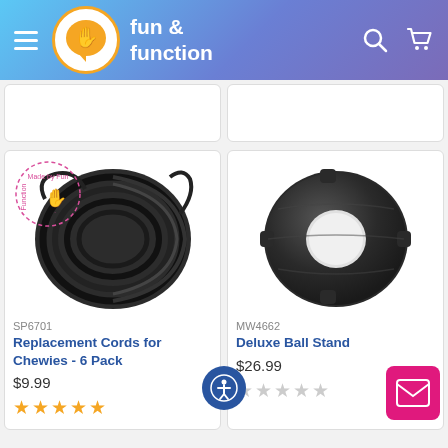fun & function
[Figure (screenshot): Partially visible product cards from previous row]
SP6701
Replacement Cords for Chewies - 6 Pack
$9.99
[Figure (photo): Replacement cords for chewies - black elastic cords coiled, with Made by Fun & Function badge]
MW4662
Deluxe Ball Stand
$26.99
[Figure (photo): Deluxe Ball Stand - circular black plastic disc with center hole]